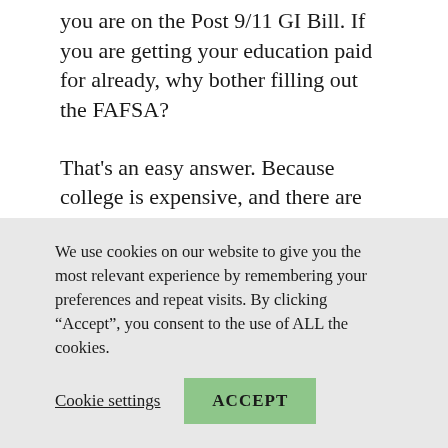you are on the Post 9/11 GI Bill. If you are getting your education paid for already, why bother filling out the FAFSA?
That's an easy answer. Because college is expensive, and there are more expenses than just tuition. Expenses may include books, computer and internet access, lab fees, athletic fees, and a host of other costs that go with getting a College degree. There are
We use cookies on our website to give you the most relevant experience by remembering your preferences and repeat visits. By clicking “Accept”, you consent to the use of ALL the cookies.
Cookie settings
ACCEPT